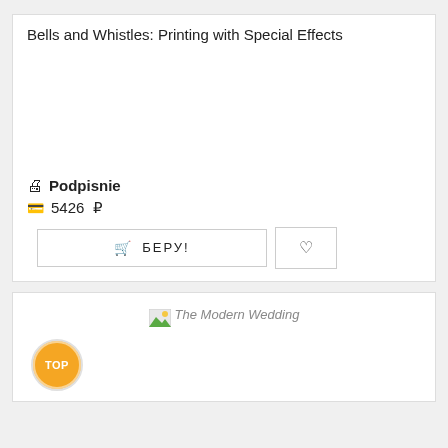Bells and Whistles: Printing with Special Effects
Podpisnie
5426 ₽
БЕРУ!
[Figure (screenshot): Product card image placeholder for 'Bells and Whistles: Printing with Special Effects']
The Modern Wedding
[Figure (photo): Image placeholder labeled 'The Modern Wedding' with a small green image icon]
ТОР